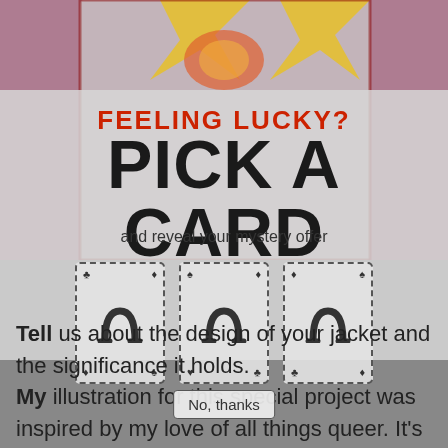[Figure (screenshot): Background photo of a jacket with floral/graphic design on pink background, partially visible behind semi-transparent overlay]
FEELING LUCKY?
PICK A CARD
and reveal your mystery offer
[Figure (illustration): Three playing cards shown with dashed borders, each displaying the True Religion horseshoe logo in the center with small suit symbols in corners]
Tell us about the design of your jacket and the significance it holds.
My illustration for this special project was inspired by my love of all things queer. It's something that I've learned to love about not only myself, but also the world. Like really embracing queer cu
No, thanks
just being as open and queer as possible. I really wanted to